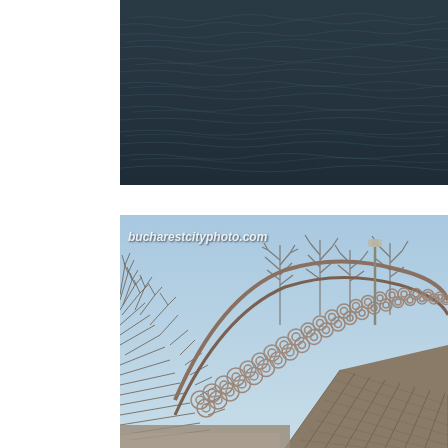[Figure (photo): Close-up photo of dark, choppy water surface with ripples and small waves, taken from above. Dark blue-grey water fills the entire frame.]
[Figure (photo): Photo of a distinctive pedestrian bridge with a railing made of stacked circular bicycle wheels or circular metal rings arranged in an arched pattern. The bridge deck is made of wooden planks. Bare winter trees are visible in the background against a blue sky. A watermark reads 'bucharestcityphoto.com' in italic text at the top left.]